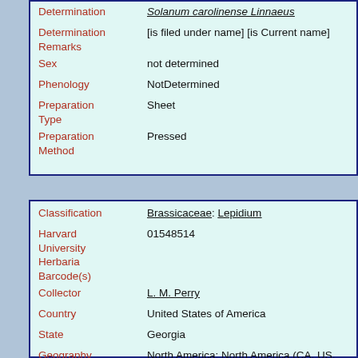| Field | Value |
| --- | --- |
| Determination | Solanum carolinense Linnaeus |
| Determination Remarks | [is filed under name] [is Current name] |
| Sex | not determined |
| Phenology | NotDetermined |
| Preparation Type | Sheet |
| Preparation Method | Pressed |
| Field | Value |
| --- | --- |
| Classification | Brassicaceae: Lepidium |
| Harvard University Herbaria Barcode(s) | 01548514 |
| Collector | L. M. Perry |
| Country | United States of America |
| State | Georgia |
| Geography | North America: North America (CA, US, MX) (Region): United States of America: Georgia: Clarke County: Athens |
| Locality | Campus |